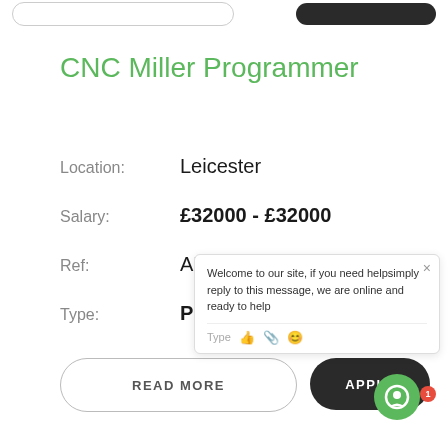CNC Miller Programmer
Location: Leicester
Salary: £32000 - £32000
Ref: AK141020212
Type: Permanent
READ MORE
APPLY
Welcome to our site, if you need helpsimply reply to this message, we are online and ready to help